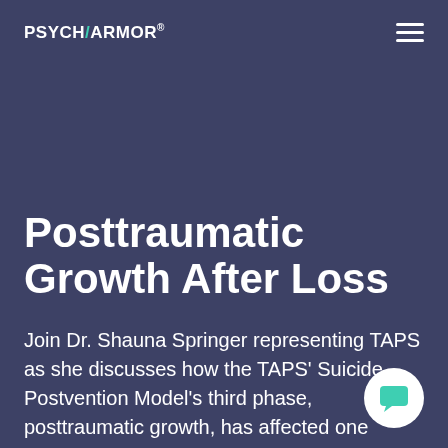PSYCH/ARMOR®
Posttraumatic Growth After Loss
Join Dr. Shauna Springer representing TAPS as she discusses how the TAPS' Suicide Postvention Model's third phase, posttraumatic growth, has affected one particular survivor